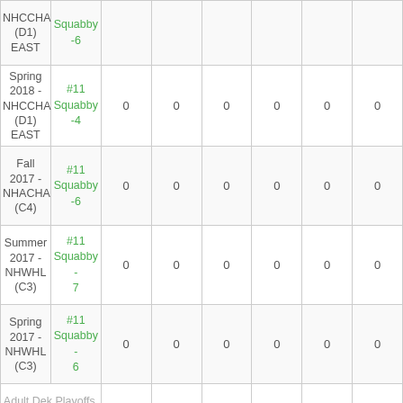| Season | Player | GP | G | A | PTS | PIM | GAA |
| --- | --- | --- | --- | --- | --- | --- | --- |
| NHCCHA (D1) EAST | #11 Squabby -6 |  |  |  |  |  |  |
| Spring 2018 - NHCCHA (D1) EAST | #11 Squabby -4 | 0 | 0 | 0 | 0 | 0 | 0 |
| Fall 2017 - NHACHA (C4) | #11 Squabby -6 | 0 | 0 | 0 | 0 | 0 | 0 |
| Summer 2017 - NHWHL (C3) | #11 Squabby -7 | 0 | 0 | 0 | 0 | 0 | 0 |
| Spring 2017 - NHWHL (C3) | #11 Squabby -6 | 0 | 0 | 0 | 0 | 0 | 0 |
| Adult Dek Playoffs Career Totals: |  | 6 | 6 | 0 | 4 | 2 | 0.33 |